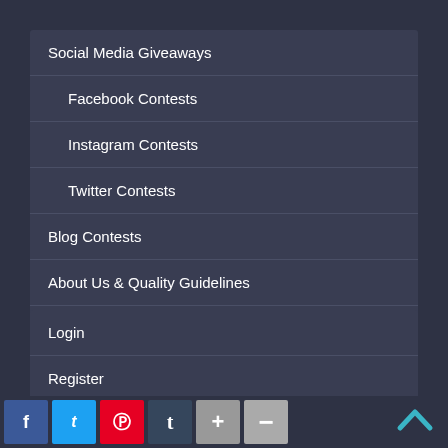Social Media Giveaways
Facebook Contests
Instagram Contests
Twitter Contests
Blog Contests
About Us & Quality Guidelines
Site Map
Login
Register